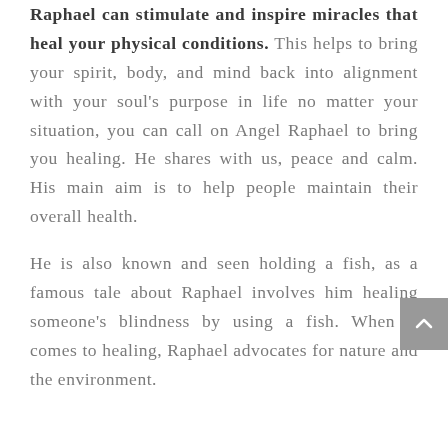As a powerful healer, Archangel Raphael can stimulate and inspire miracles that heal your physical conditions. This helps to bring your spirit, body, and mind back into alignment with your soul's purpose in life no matter your situation, you can call on Angel Raphael to bring you healing. He shares with us, peace and calm. His main aim is to help people maintain their overall health.
He is also known and seen holding a fish, as a famous tale about Raphael involves him healing someone's blindness by using a fish. When it comes to healing, Raphael advocates for nature and the environment.